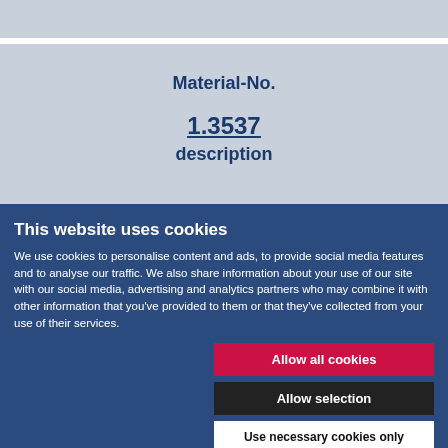| Material-No. |
| --- |
| 1.3537 |
| description |
This website uses cookies
We use cookies to personalise content and ads, to provide social media features and to analyse our traffic. We also share information about your use of our site with our social media, advertising and analytics partners who may combine it with other information that you've provided to them or that they've collected from your use of their services.
Allow all cookies
Allow selection
Use necessary cookies only
Necessary  Preferences  Statistics  Marketing  Show details